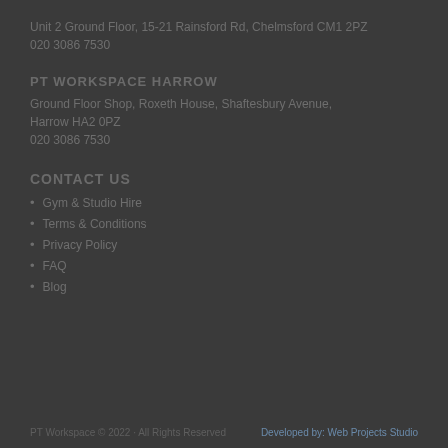Unit 2 Ground Floor, 15-21 Rainsford Rd, Chelmsford CM1 2PZ
020 3086 7530
PT WORKSPACE HARROW
Ground Floor Shop, Roxeth House, Shaftesbury Avenue, Harrow HA2 0PZ
020 3086 7530
CONTACT US
Gym & Studio Hire
Terms & Conditions
Privacy Policy
FAQ
Blog
PT Workspace © 2022 · All Rights Reserved      Developed by: Web Projects Studio